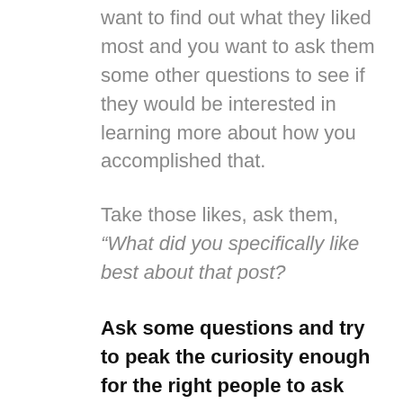want to find out what they liked most and you want to ask them some other questions to see if they would be interested in learning more about how you accomplished that.
Take those likes, ask them, “What did you specifically like best about that post?
Ask some questions and try to peak the curiosity enough for the right people to ask you for more information about how you did what you’re posting about or how you made that possible or how those things were